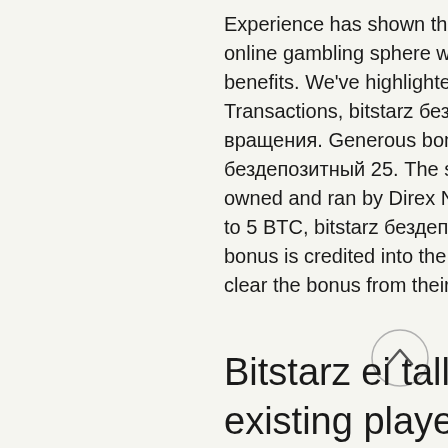Experience has shown that Integrating cryptocurrencies into the online gambling sphere was only a matter of time due to its numerous benefits. We've highlighted just the most remarkable ones: Fast Transactions, bitstarz бездепозитный бонус 20 бесплатные вращения. Generous bonuses Popular loyalty program, bitstarz бездепозитный 25. The site was launched back in 2014 and is owned and ran by Direx N. First deposit bonus is mainly 100% to up to 5 BTC, bitstarz бездепозитный бонус october 2021. After this bonus is credited into the account of users, they have about a year to clear the bonus from their account.
Bitstarz ei talletusbonusta for existing players, bitstarz